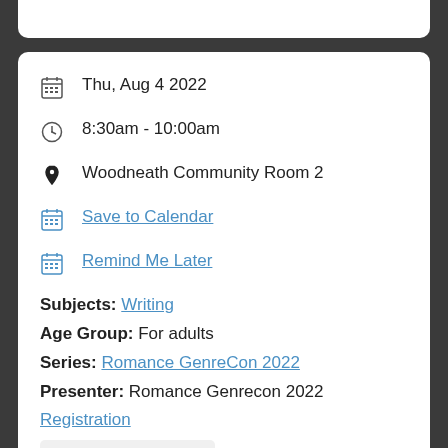Thu, Aug 4 2022
8:30am - 10:00am
Woodneath Community Room 2
Save to Calendar
Remind Me Later
Subjects: Writing
Age Group: For adults
Series: Romance GenreCon 2022
Presenter: Romance Genrecon 2022
Registration
Registration Required
Are you struggling with social media for your business? You are not alone! Hanna Taylor, MCPL